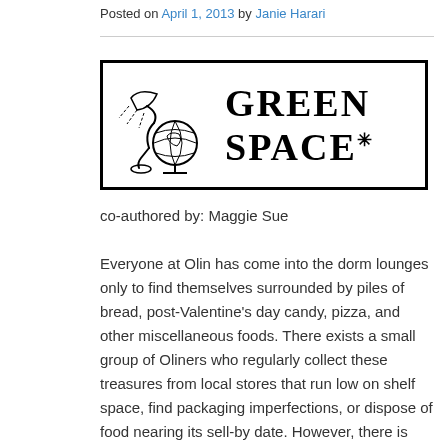Posted on April 1, 2013 by Janie Harari
[Figure (logo): Green Space logo with hand-drawn desk lamp and globe illustration on the left, and 'GREEN SPACE*' text in hand-lettered style on the right, all within a black border box.]
co-authored by: Maggie Sue
Everyone at Olin has come into the dorm lounges only to find themselves surrounded by piles of bread, post-Valentine's day candy, pizza, and other miscellaneous foods. There exists a small group of Oliners who regularly collect these treasures from local stores that run low on shelf space, find packaging imperfections, or dispose of food nearing its sell-by date. However, there is much more to this practice than happily collecting a dumpster's contents.